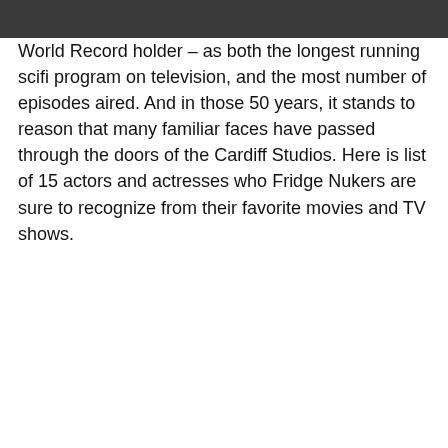World Record holder – as both the longest running scifi program on television, and the most number of episodes aired. And in those 50 years, it stands to reason that many familiar faces have passed through the doors of the Cardiff Studios. Here is list of 15 actors and actresses who Fridge Nukers are sure to recognize from their favorite movies and TV shows.